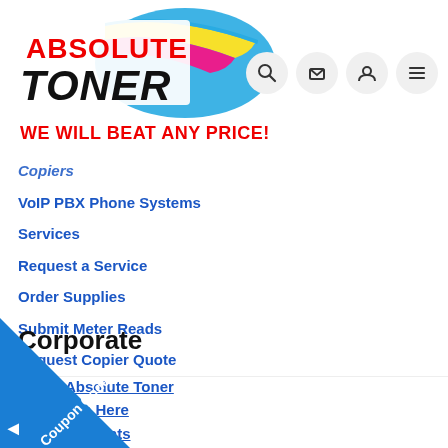[Figure (logo): Absolute Toner logo with colorful arc (blue, yellow, pink/magenta) and bold text ABSOLUTE TONER with tagline WE WILL BEAT ANY PRICE!]
Copiers
VoIP PBX Phone Systems
Services
Request a Service
Order Supplies
Submit Meter Reads
Request Copier Quote
Corporate
About Absolute Toner
Why Shop Here
Rewards Points
Wholesale & Retailer Program
IT Solutions
Referral Program
[Figure (infographic): Blue diagonal coupon code banner in bottom-left corner with text Coupon Code and a left-pointing arrow]